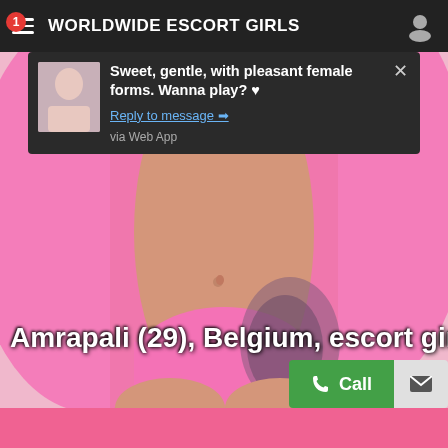WORLDWIDE ESCORT GIRLS
Sweet, gentle, with pleasant female forms. Wanna play? ♥
Reply to message →
via Web App
[Figure (photo): Photo of a woman in pink bikini and pink open jacket, with a tattoo on her side, against a pink background]
Amrapali (29), Belgium, escort girl